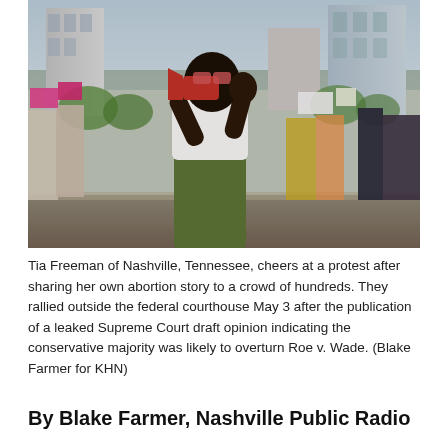[Figure (photo): Tia Freeman of Nashville, Tennessee, cheers at a protest, holding a megaphone to her mouth with one hand raised. She wears a white crop top and olive green pants. Behind her is a crowd of protesters holding signs, with city buildings visible in the background.]
Tia Freeman of Nashville, Tennessee, cheers at a protest after sharing her own abortion story to a crowd of hundreds. They rallied outside the federal courthouse May 3 after the publication of a leaked Supreme Court draft opinion indicating the conservative majority was likely to overturn Roe v. Wade. (Blake Farmer for KHN)
By Blake Farmer, Nashville Public Radio